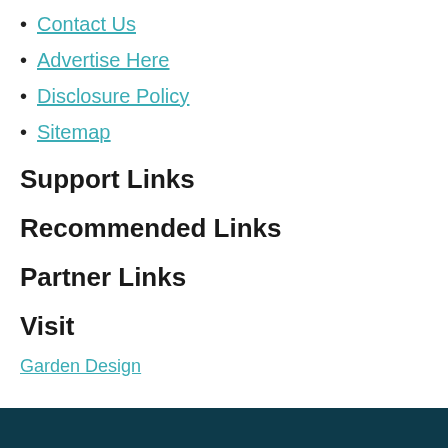Contact Us
Advertise Here
Disclosure Policy
Sitemap
Support Links
Recommended Links
Partner Links
Visit
Garden Design